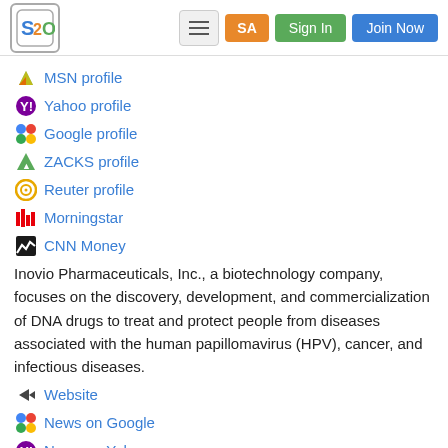S2O | SA | Sign In | Join Now
MSN profile
Yahoo profile
Google profile
ZACKS profile
Reuter profile
Morningstar
CNN Money
Inovio Pharmaceuticals, Inc., a biotechnology company, focuses on the discovery, development, and commercialization of DNA drugs to treat and protect people from diseases associated with the human papillomavirus (HPV), cancer, and infectious diseases.
Website
News on Google
News on Yahoo
Officers & Directors
Headlines
Major Holders
Insider Trading